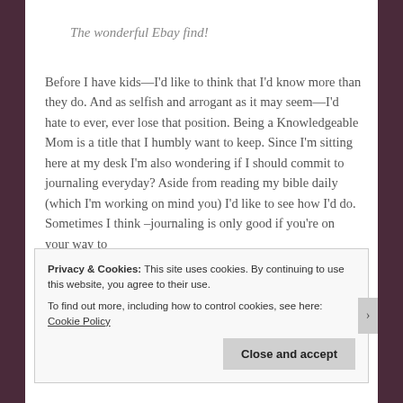The wonderful Ebay find!
Before I have kids—I'd like to think that I'd know more than they do. And as selfish and arrogant as it may seem—I'd hate to ever, ever lose that position. Being a Knowledgeable Mom is a title that I humbly want to keep. Since I'm sitting here at my desk I'm also wondering if I should commit to journaling everyday? Aside from reading my bible daily (which I'm working on mind you) I'd like to see how I'd do. Sometimes I think –journaling is only good if you're on your way to
Privacy & Cookies: This site uses cookies. By continuing to use this website, you agree to their use.
To find out more, including how to control cookies, see here: Cookie Policy
Close and accept